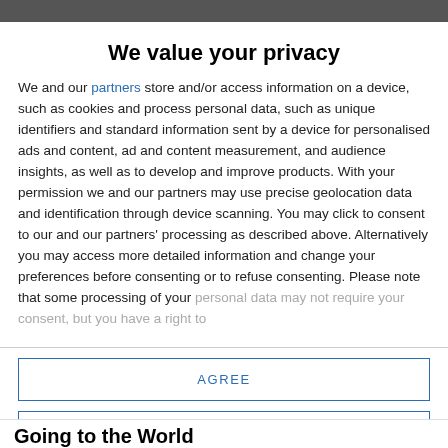We value your privacy
We and our partners store and/or access information on a device, such as cookies and process personal data, such as unique identifiers and standard information sent by a device for personalised ads and content, ad and content measurement, and audience insights, as well as to develop and improve products. With your permission we and our partners may use precise geolocation data and identification through device scanning. You may click to consent to our and our partners' processing as described above. Alternatively you may access more detailed information and change your preferences before consenting or to refuse consenting. Please note that some processing of your personal data may not require your consent, but you have a right to
AGREE
MORE OPTIONS
Going to the World